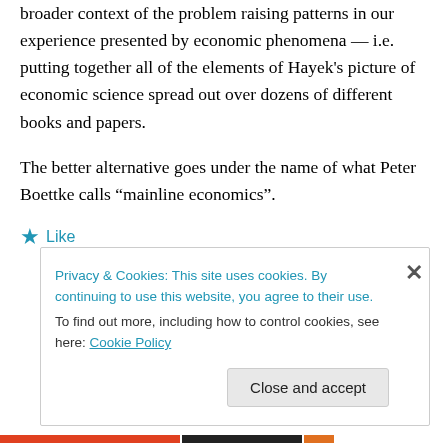broader context of the problem raising patterns in our experience presented by economic phenomena — i.e. putting together all of the elements of Hayek's picture of economic science spread out over dozens of different books and papers.
The better alternative goes under the name of what Peter Boettke calls “mainline economics”.
★ Like
Privacy & Cookies: This site uses cookies. By continuing to use this website, you agree to their use.
To find out more, including how to control cookies, see here: Cookie Policy